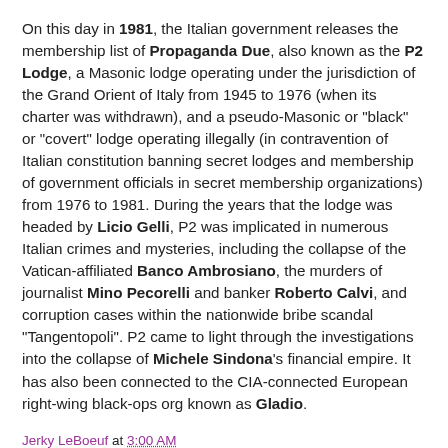On this day in 1981, the Italian government releases the membership list of Propaganda Due, also known as the P2 Lodge, a Masonic lodge operating under the jurisdiction of the Grand Orient of Italy from 1945 to 1976 (when its charter was withdrawn), and a pseudo-Masonic or "black" or "covert" lodge operating illegally (in contravention of Italian constitution banning secret lodges and membership of government officials in secret membership organizations) from 1976 to 1981. During the years that the lodge was headed by Licio Gelli, P2 was implicated in numerous Italian crimes and mysteries, including the collapse of the Vatican-affiliated Banco Ambrosiano, the murders of journalist Mino Pecorelli and banker Roberto Calvi, and corruption cases within the nationwide bribe scandal "Tangentopoli". P2 came to light through the investigations into the collapse of Michele Sindona's financial empire. It has also been connected to the CIA-connected European right-wing black-ops org known as Gladio.
Jerky LeBoeuf at 3:00 AM